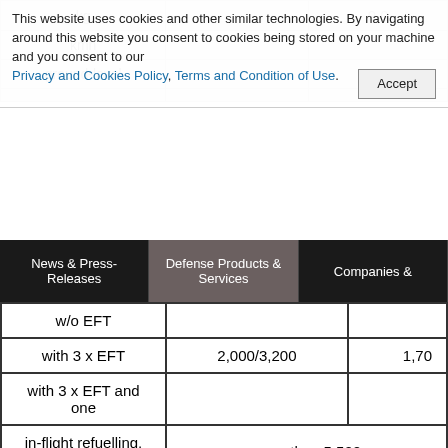This website uses cookies and other similar technologies. By navigating around this website you consent to cookies being stored on your machine and you consent to our Privacy and Cookies Policy, Terms and Condition of Use. Accept
[Figure (screenshot): Partially visible website navigation with table rows showing 'kg', a value containing 9.0, 'kmh', 'ground-level', and a partial row]
News & Press-Releases | Defense Products & Services | Companies &
|  |  |  |
| --- | --- | --- |
| w/o EFT |  |  |
| with 3 x EFT | 2,000/3,200 | 1,70 |
| with 3 x EFT and one |  |  |
| in-flight refuelling, kg | more than 5,500 |  |
| Max external payload, kg | 6,500 |  |